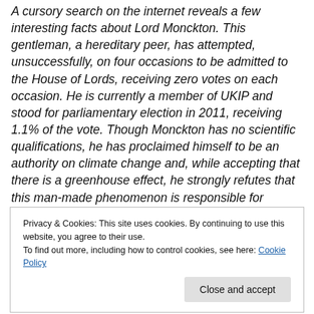A cursory search on the internet reveals a few interesting facts about Lord Monckton. This gentleman, a hereditary peer, has attempted, unsuccessfully, on four occasions to be admitted to the House of Lords, receiving zero votes on each occasion. He is currently a member of UKIP and stood for parliamentary election in 2011, receiving 1.1% of the vote. Though Monckton has no scientific qualifications, he has proclaimed himself to be an authority on climate change and, while accepting that there is a greenhouse effect, he strongly refutes that this man-made phenomenon is responsible for accelerated climate
Privacy & Cookies: This site uses cookies. By continuing to use this website, you agree to their use.
To find out more, including how to control cookies, see here: Cookie Policy
Close and accept